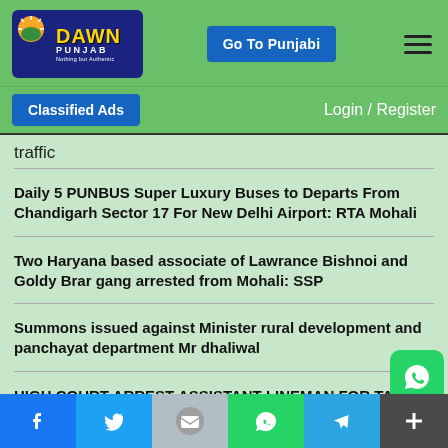Dawn Punjab — Go To Punjabi — Menu
Classified Ads | Login / Register
traffic
Daily 5 PUNBUS Super Luxury Buses to Departs From Chandigarh Sector 17 For New Delhi Airport: RTA Mohali
Two Haryana based associate of Lawrance Bishnoi and Goldy Brar gang arrested from Mohali: SSP
Summons issued against Minister rural development and panchayat department Mr dhaliwal
HIGH COURT ARREST ASSISTANT LINEMAN FOR TAKING BR...